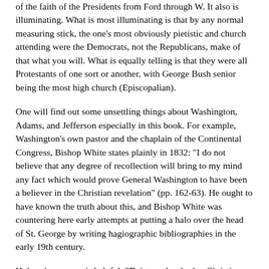of the faith of the Presidents from Ford through W. It also is illuminating. What is most illuminating is that by any normal measuring stick, the one's most obviously pietistic and church attending were the Democrats, not the Republicans, make of that what you will. What is equally telling is that they were all Protestants of one sort or another, with George Bush senior being the most high church (Episcopalian).
One will find out some unsettling things about Washington, Adams, and Jefferson especially in this book. For example, Washington's own pastor and the chaplain of the Continental Congress, Bishop White states plainly in 1832: "I do not believe that any degree of recollection will bring to my mind any fact which would prove General Washington to have been a believer in the Christian revelation" (pp. 162-63). He ought to have known the truth about this, and Bishop White was countering here early attempts at putting a halo over the head of St. George by writing hagiographic bibliographies in the early 19th century.
Holmes' summary is helpful: "Deists and orthodox Christians alike composed the revolutionary generation. Whatever their